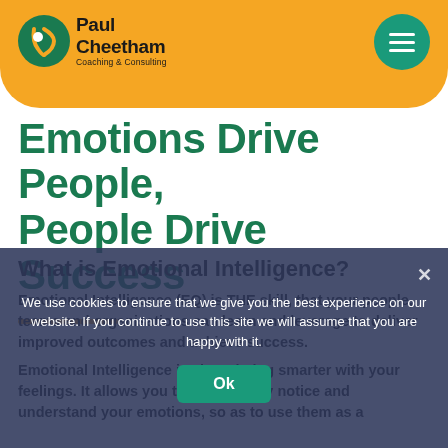Paul Cheetham Coaching & Consulting
Emotions Drive People, People Drive Success
What is Emotional Intelligence?
Emotional Intelligence (EQ) is THE skill, that your people, teams and organisations can learn and leverage to deliver improved outcomes and achieve success. Emotional Intelligence is about being smarter with your feelings. It allows you to consciously notice and understand your emotions, so as to use them as a
We use cookies to ensure that we give you the best experience on our website. If you continue to use this site we will assume that you are happy with it.